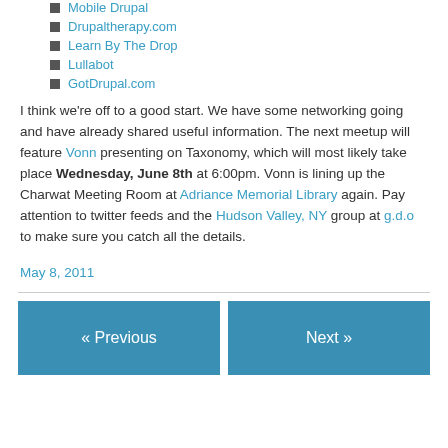Mobile Drupal
Drupaltherapy.com
Learn By The Drop
Lullabot
GotDrupal.com
I think we're off to a good start. We have some networking going and have already shared useful information. The next meetup will feature Vonn presenting on Taxonomy, which will most likely take place Wednesday, June 8th at 6:00pm. Vonn is lining up the Charwat Meeting Room at Adriance Memorial Library again. Pay attention to twitter feeds and the Hudson Valley, NY group at g.d.o to make sure you catch all the details.
May 8, 2011
« Previous
Next »